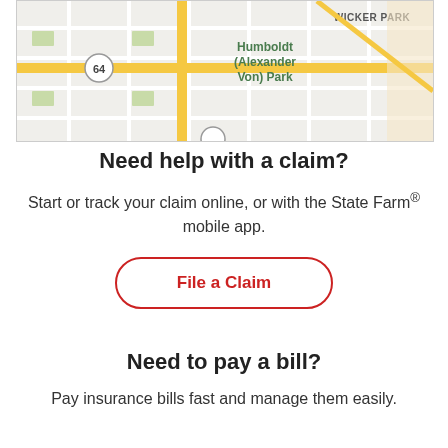[Figure (map): Street map showing Humboldt (Alexander Von) Park area with Wicker Park label, route 64 marker, and yellow road lines on gray grid]
Need help with a claim?
Start or track your claim online, or with the State Farm® mobile app.
File a Claim
Need to pay a bill?
Pay insurance bills fast and manage them easily.